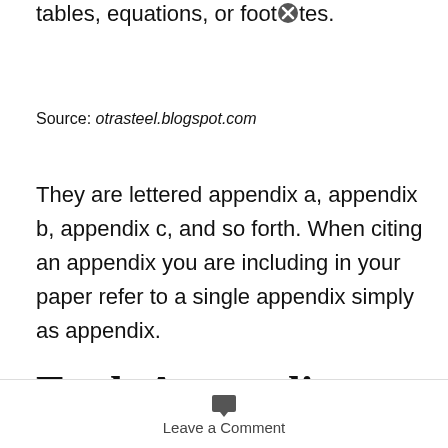tables, equations, or footnotes.
Source: otrasteel.blogspot.com
They are lettered appendix a, appendix b, appendix c, and so forth. When citing an appendix you are including in your paper refer to a single appendix simply as appendix.
Each Appendix Must Have A Title
Leave a Comment